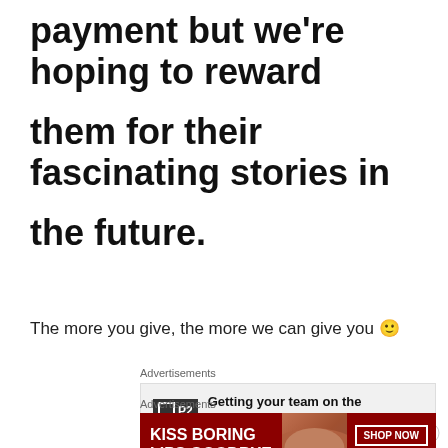payment but we’re hoping to reward them for their fascinating stories in the future.
The more you give, the more we can give you 🙂
Advertisements
[Figure (screenshot): P2 advertisement: Getting your team on the same page is easy. And free.]
Advertisements
[Figure (screenshot): Macy's advertisement: Kiss Boring Lips Goodbye. Shop Now. Macy's.]